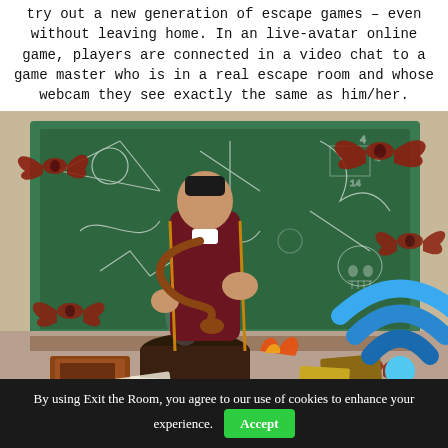try out a new generation of escape games — even without leaving home. In an live-avatar online game, players are connected in a video chat to a game master who is in a real escape room and whose webcam they see exactly the same as him/her.
[Figure (illustration): Fantasy escape room illustration showing a wizard/magician figure in a dark red coat, surrounded by flying bats, smoke rising from a cauldron, a green chalkboard with diagrams in the background, scattered books and scrolls, and a 'PLAYABLE ONLINE' badge with a WiFi icon in the bottom right corner.]
By using Exit the Room, you agree to our use of cookies to enhance your experience. Accept